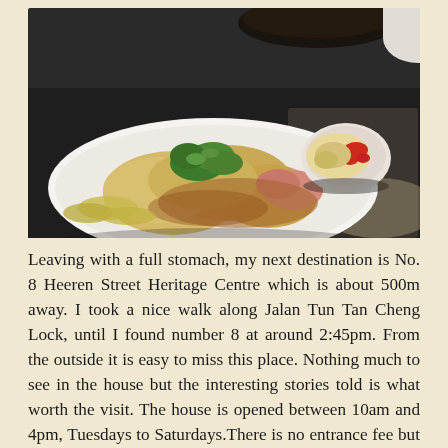[Figure (photo): A plate of Hainanese chicken rice with sliced poached chicken garnished with cilantro on a white oval platter, accompanied by a small bowl of chili sauce with ginger paste, on a dark table.]
Leaving with a full stomach, my next destination is No. 8 Heeren Street Heritage Centre which is about 500m away. I took a nice walk along Jalan Tun Tan Cheng Lock, until I found number 8 at around 2:45pm. From the outside it is easy to miss this place. Nothing much to see in the house but the interesting stories told is what worth the visit. The house is opened between 10am and 4pm, Tuesdays to Saturdays.There is no entrance fee but the staff is extremely friendly and welcoming to share their story. One of them, Mr. Goh, sat with me in the